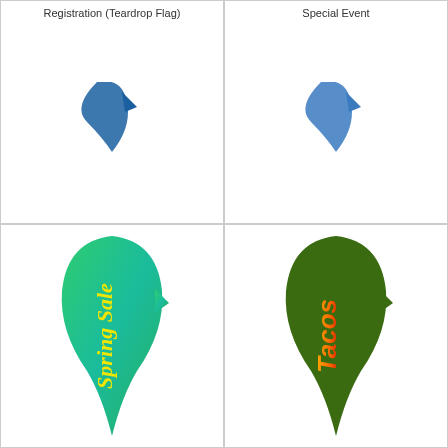[Figure (illustration): Teardrop flag shape in blue, partial view from top]
Registration (Teardrop Flag)
[Figure (illustration): Teardrop flag shape in blue, partial view from top]
Special Event
[Figure (illustration): Teardrop feather flag with green-to-teal gradient and 'Spring Sale' text in yellow italic]
[Figure (illustration): Teardrop feather flag in dark green with 'Tacos' text in yellow-to-red gradient]